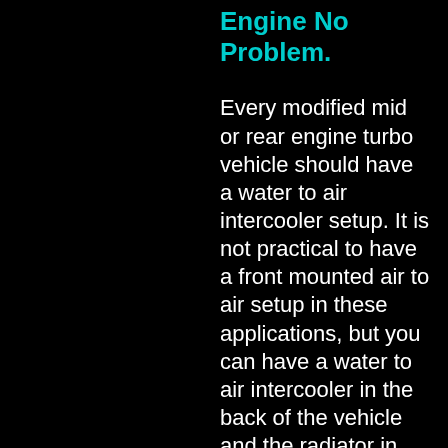Engine No Problem.
Every modified mid or rear engine turbo vehicle should have a water to air intercooler setup. It is not practical to have a front mounted air to air setup in these applications, but you can have a water to air intercooler in the back of the vehicle and the radiator in the front, providing greater cooling than an air to air setup.
Bugatti Veyron.
The Bugatti Veyron is equipped with a water to air intercooler. 1,001 horsepower, 250 MPH cars might be somewhat common at the drag strip, but that’s not what the Veyron is about. The Veyron is an all-around